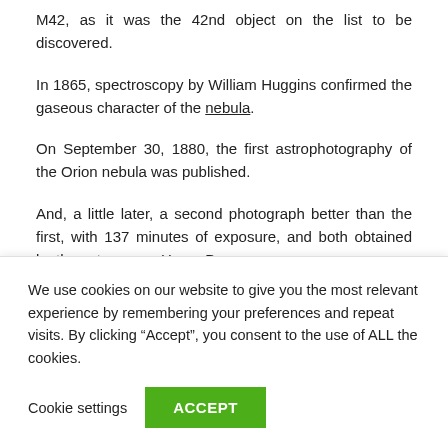M42, as it was the 42nd object on the list to be discovered.
In 1865, spectroscopy by William Huggins confirmed the gaseous character of the nebula.
On September 30, 1880, the first astrophotography of the Orion nebula was published.
And, a little later, a second photograph better than the first, with 137 minutes of exposure, and both obtained by the astronomer Henry Draper.
What is the Orion Nebula?
We use cookies on our website to give you the most relevant experience by remembering your preferences and repeat visits. By clicking “Accept”, you consent to the use of ALL the cookies.